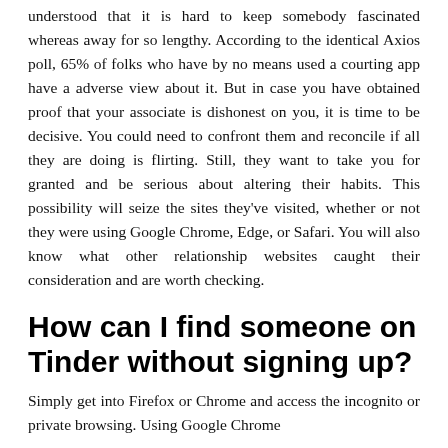understood that it is hard to keep somebody fascinated whereas away for so lengthy. According to the identical Axios poll, 65% of folks who have by no means used a courting app have a adverse view about it. But in case you have obtained proof that your associate is dishonest on you, it is time to be decisive. You could need to confront them and reconcile if all they are doing is flirting. Still, they want to take you for granted and be serious about altering their habits. This possibility will seize the sites they've visited, whether or not they were using Google Chrome, Edge, or Safari. You will also know what other relationship websites caught their consideration and are worth checking.
How can I find someone on Tinder without signing up?
Simply get into Firefox or Chrome and access the incognito or private browsing. Using Google Chrome